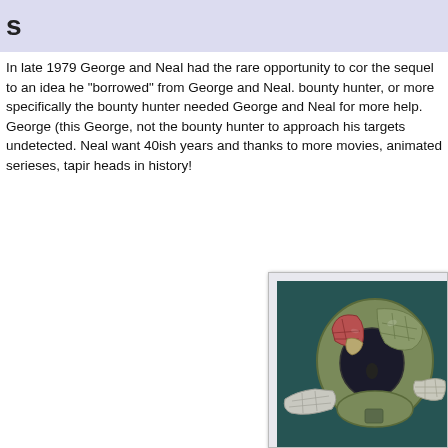s
In late 1979 George and Neal had the rare opportunity to con the sequel to an idea he "borrowed" from George and Neal. bounty hunter, or more specifically the bounty hunter needed George and Neal for more help. George (this George, not the bounty hunter to approach his targets undetected. Neal want 40ish years and thanks to more movies, animated serieses, tapir heads in history!
[Figure (illustration): Illustration of Slave I, Boba Fett's spaceship from Star Wars, shown from a front-top angle against a dark teal textured background. The ship has a distinctive round front with red and tan paneling, a dark cockpit window, and wing-like extensions on the sides.]